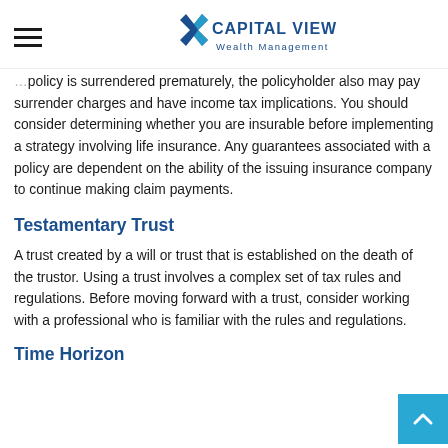Capital View Wealth Management
policy is surrendered prematurely, the policyholder also may pay surrender charges and have income tax implications. You should consider determining whether you are insurable before implementing a strategy involving life insurance. Any guarantees associated with a policy are dependent on the ability of the issuing insurance company to continue making claim payments.
Testamentary Trust
A trust created by a will or trust that is established on the death of the trustor. Using a trust involves a complex set of tax rules and regulations. Before moving forward with a trust, consider working with a professional who is familiar with the rules and regulations.
Time Horizon